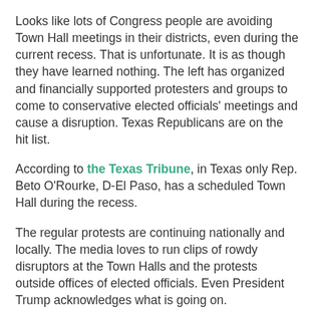Looks like lots of Congress people are avoiding Town Hall meetings in their districts, even during the current recess. That is unfortunate. It is as though they have learned nothing. The left has organized and financially supported protesters and groups to come to conservative elected officials' meetings and cause a disruption. Texas Republicans are on the hit list.
According to the Texas Tribune, in Texas only Rep. Beto O'Rourke, D-El Paso, has a scheduled Town Hall during the recess.
The regular protests are continuing nationally and locally. The media loves to run clips of rowdy disruptors at the Town Halls and the protests outside offices of elected officials. Even President Trump acknowledges what is going on.
On February 21, 2017 at 5:23 PM @realDonaldTrump tweeted:
"The so-called angry crowds in home districts of some Republicans are actually, in numerous cases, planned out by liberal activists. So!!!...